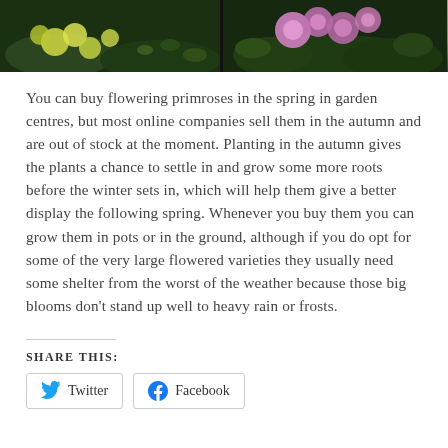[Figure (photo): Two photos of flowering primroses side by side: left shows yellow/green primroses with dark foliage, right shows pink/purple primroses with green leaves.]
You can buy flowering primroses in the spring in garden centres, but most online companies sell them in the autumn and are out of stock at the moment. Planting in the autumn gives the plants a chance to settle in and grow some more roots before the winter sets in, which will help them give a better display the following spring. Whenever you buy them you can grow them in pots or in the ground, although if you do opt for some of the very large flowered varieties they usually need some shelter from the worst of the weather because those big blooms don't stand up well to heavy rain or frosts.
SHARE THIS:
Twitter   Facebook